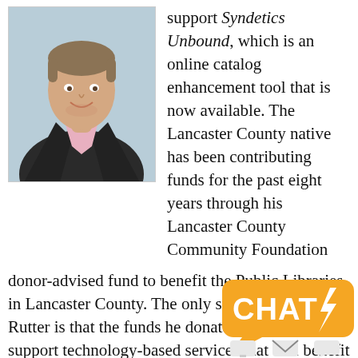[Figure (photo): Headshot of a man in a dark blazer and light pink dress shirt, smiling, with a light blue-grey background.]
support Syndetics Unbound, which is an online catalog enhancement tool that is now available. The Lancaster County native has been contributing funds for the past eight years through his Lancaster County Community Foundation donor-advised fund to benefit the Public Libraries in Lancaster County. The only stipulation by Rutter is that the funds he donates be used to support technology-based services that will benefit many library users throughout the county.
Our previous Content Enrichment package was cost heavy and did not include the special features ... Lancaster County is a fast growing, tech savvy community
[Figure (logo): Orange CHAT chat bubble logo with lightning bolt and icons for desktop, email, and chat.]